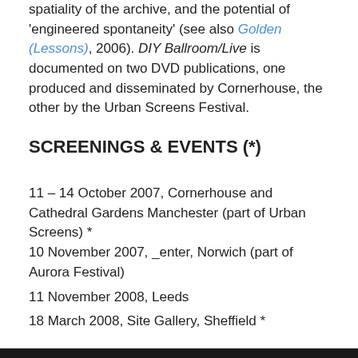spatiality of the archive, and the potential of 'engineered spontaneity' (see also Golden (Lessons), 2006). DIY Ballroom/Live is documented on two DVD publications, one produced and disseminated by Cornerhouse, the other by the Urban Screens Festival.
SCREENINGS & EVENTS (*)
11 – 14 October 2007, Cornerhouse and Cathedral Gardens Manchester (part of Urban Screens) *
10 November 2007, _enter, Norwich (part of Aurora Festival)
11 November 2008, Leeds
18 March 2008, Site Gallery, Sheffield *